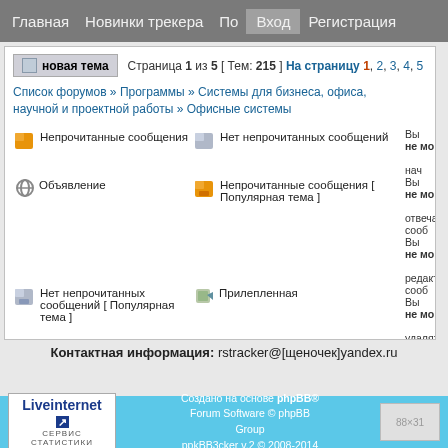Главная  Новинки трекера  По  Вход  Регистрация
новая тема  Страница 1 из 5 [ Тем: 215 ] На страницу 1, 2, 3, 4, 5
Список форумов » Программы » Системы для бизнеса, офиса, научной и проектной работы » Офисные системы
Непрочитанные сообщения | Нет непрочитанных сообщений | Объявление | Вы не мо... нач...
Непрочитанные сообщения [ Популярная тема ] | Нет непрочитанных сообщений [ Популярная тема ] | Прилепленная | Вы не мо... отвеча... сооб... Вы не мо... редактир...
Непрочитанные сообщения [ Тема закрыта ] | Нет непрочитанных сообщений [ Тема закрыта ] | Перенесённая | сооб... Вы не мо... удалять... сооб... Вы не мо... доба... вло...
Контактная информация: rstracker@[щеночек]yandex.ru
Создано на основе phpBB® Forum Software © phpBB Group ppkBB3cker v.2 © 2008-2014